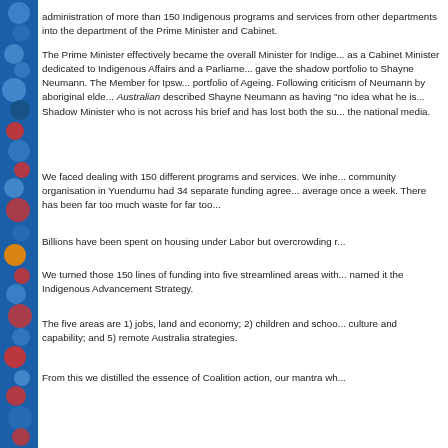administration of more than 150 Indigenous programs and services from other departments into the department of the Prime Minister and Cabinet.
The Prime Minister effectively became the overall Minister for Indigenous Affairs as a Cabinet Minister dedicated to Indigenous Affairs and a Parliamentary Secretary gave the shadow portfolio to Shayne Neumann. The Member for Ipswich held the portfolio of Ageing. Following criticism of Neumann by aboriginal elders, the Australian described Shayne Neumann as having "no idea what he is talking about – a Shadow Minister who is not across his brief and has lost both the support of" the national media.
We faced dealing with 150 different programs and services. We inherited a situation: a community organisation in Yuendumu had 34 separate funding agreements, reporting on average once a week. There has been far too much waste for far too long.
Billions have been spent on housing under Labor but overcrowding remains.
We turned those 150 lines of funding into five streamlined areas with reporting and named it the Indigenous Advancement Strategy.
The five areas are 1) jobs, land and economy; 2) children and schools; 3) safety and wellbeing; 4) culture and capability; and 5) remote Australia strategies.
From this we distilled the essence of Coalition action, our mantra wh...